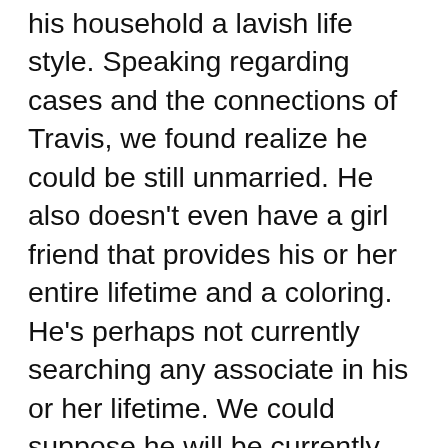his household a lavish life style. Speaking regarding cases and the connections of Travis, we found realize he could be still unmarried. He also doesn't even have a girl friend that provides his or her entire lifetime and a coloring. He's perhaps not currently searching any associate in his or her lifetime. We could suppose he will be currently anticipating earning a fracture and has to be committed supporting his livelihood. He also doesn't need some other distractions within his life. He is powerful in most solution to become welcome and married a wife. You've got to see his biography In the event you would like to find out more regarding Travis along with his group. You may locate him. However, also for several good causes, he isn't there on Instagram and Twitter.